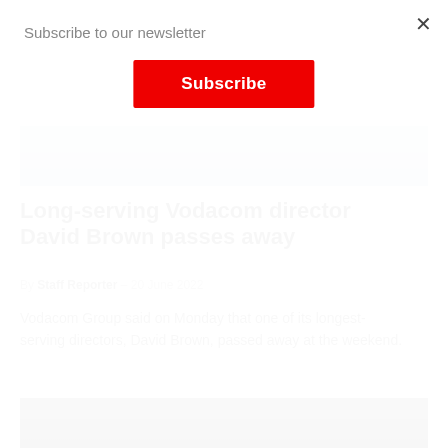Subscribe to our newsletter
Subscribe
[Figure (photo): Partial view of two people in business attire, cropped at shoulder level]
Long-serving Vodacom director David Brown passes away
By Staff Reporter — 20 June 2022
Vodacom Group said on Monday that one of its longest-serving directors, David Brown, passed away at the weekend.
[Figure (photo): Black and white photo of a man, partially visible from top of head]